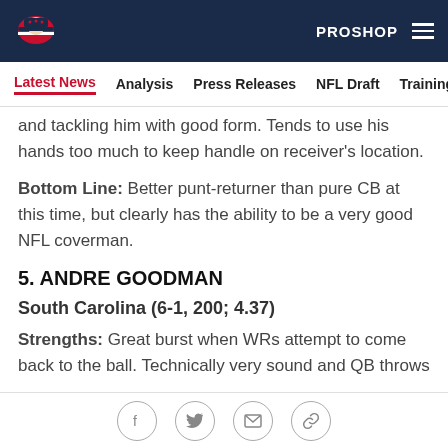New England Patriots website header with logo, PROSHOP link, and hamburger menu
Latest News | Analysis | Press Releases | NFL Draft | Training Camp
and tackling him with good form. Tends to use his hands too much to keep handle on receiver's location.
Bottom Line: Better punt-returner than pure CB at this time, but clearly has the ability to be a very good NFL coverman.
5. ANDRE GOODMAN
South Carolina (6-1, 200; 4.37)
Strengths: Great burst when WRs attempt to come back to the ball. Technically very sound and QB throws
Social share icons: Facebook, Twitter, Email, Link